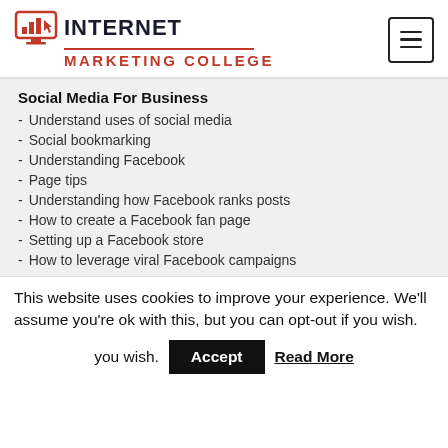[Figure (logo): Internet Marketing College logo with bar chart and cursor icon, red and dark navy text]
Social Media For Business
Understand uses of social media
Social bookmarking
Understanding Facebook
Page tips
Understanding how Facebook ranks posts
How to create a Facebook fan page
Setting up a Facebook store
How to leverage viral Facebook campaigns
This website uses cookies to improve your experience. We'll assume you're ok with this, but you can opt-out if you wish.
Accept  Read More